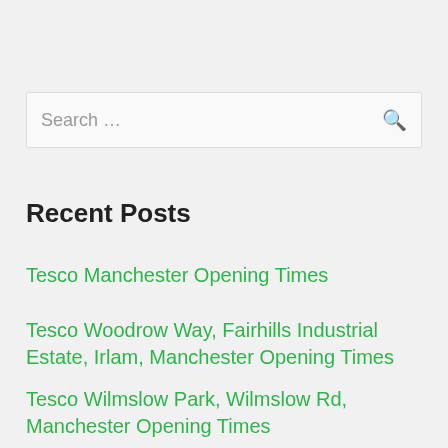Search …
Recent Posts
Tesco Manchester Opening Times
Tesco Woodrow Way, Fairhills Industrial Estate, Irlam, Manchester Opening Times
Tesco Wilmslow Park, Wilmslow Rd, Manchester Opening Times
Tesco Victoria Ave E, Blackley, Manchester Opening Times
Tesco Valley Park Rd, Prestwich, Manchester Opening